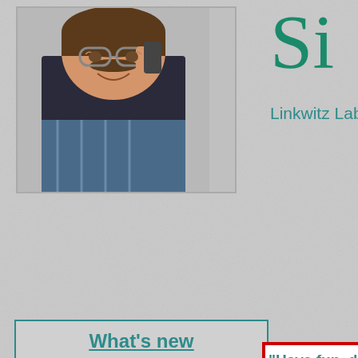[Figure (photo): Photo of a smiling man with glasses, holding something near his face, with a magazine or publication visible in the background]
Si
Linkwitz Lab tra
What's new
LX - Store
BLACKLIST
"Have fun, d
I feel very honored, that Sieg
[Figure (photo): Landscape photo showing a coastal cliff scene]